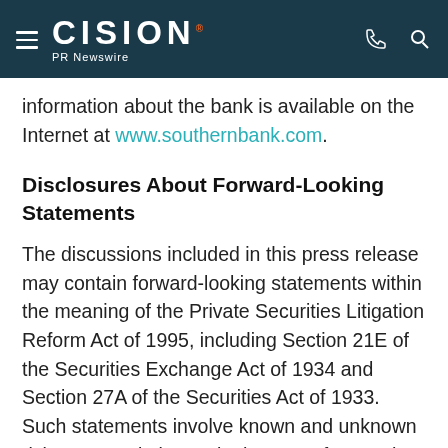CISION PR Newswire
information about the bank is available on the Internet at www.southernbank.com.
Disclosures About Forward-Looking Statements
The discussions included in this press release may contain forward-looking statements within the meaning of the Private Securities Litigation Reform Act of 1995, including Section 21E of the Securities Exchange Act of 1934 and Section 27A of the Securities Act of 1933.  Such statements involve known and unknown risks, uncertainties and other factors that may cause actual results to differ